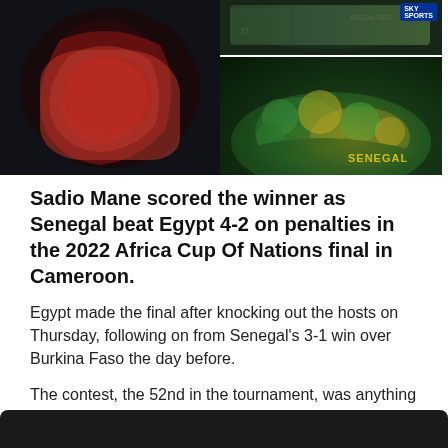[Figure (photo): Left image: Egyptian player covering face with red jersey, appearing distressed. Right top: dark stadium scene. Right bottom: Senegal players celebrating in a pile wearing yellow/green jerseys with SENEGAL visible.]
Sadio Mane scored the winner as Senegal beat Egypt 4-2 on penalties in the 2022 Africa Cup Of Nations final in Cameroon.
Egypt made the final after knocking out the hosts on Thursday, following on from Senegal's 3-1 win over Burkina Faso the day before.
The contest, the 52nd in the tournament, was anything but a classic but featured a superb showing from Egypt's goalkeeper Mohamed Abou Gabal - more commonly known as 'Gabaski'.
[Figure (photo): Dark black bar at bottom, partial view of video player or next image.]